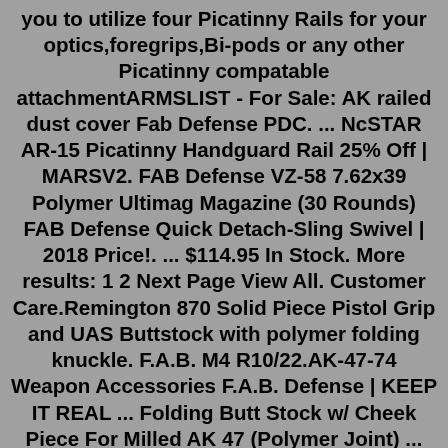you to utilize four Picatinny Rails for your optics,foregrips,Bi-pods or any other Picatinny compatable attachmentARMSLIST - For Sale: AK railed dust cover Fab Defense PDC. ... NcSTAR AR-15 Picatinny Handguard Rail 25% Off | MARSV2. FAB Defense VZ-58 7.62x39 Polymer Ultimag Magazine (30 Rounds) FAB Defense Quick Detach-Sling Swivel | 2018 Price!. ... $114.95 In Stock. More results: 1 2 Next Page View All. Customer Care.Remington 870 Solid Piece Pistol Grip and UAS Buttstock with polymer folding knuckle. F.A.B. M4 R10/22.AK-47-74 Weapon Accessories F.A.B. Defense | KEEP IT REAL ... Folding Butt Stock w/ Cheek Piece For Milled AK 47 (Polymer Joint) ... FAB Defense ® Scorpus ® are ... FAB Defense M4 Shock Absorbing Folding Buttstock for AK - Polymer Joint - M4-AK P SB $ 0.00 - $ 207.88 Select options; FAB Defense M4 Folding Buttstock for AK 47 Polymer Joint M4-AK P $ 160.09 Select options; FAB Defense Recoil Reducing AKM47-74 Buttstock System SBT-K47 FK $ 103.94 Select options20/02/2019. Visit Us at